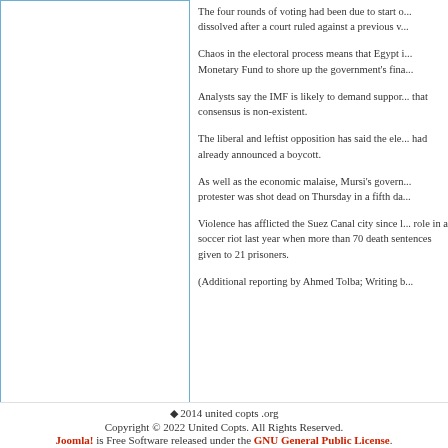The four rounds of voting had been due to start o... dissolved after a court ruled against a previous v...
Chaos in the electoral process means that Egypt i... Monetary Fund to shore up the government's fina...
Analysts say the IMF is likely to demand suppor... that consensus is non-existent.
The liberal and leftist opposition has said the ele... had already announced a boycott.
As well as the economic malaise, Mursi's govern... protester was shot dead on Thursday in a fifth da...
Violence has afflicted the Suez Canal city since l... role in a soccer riot last year when more than 70 ... death sentences given to 21 prisoners.
(Additional reporting by Ahmed Tolba; Writing b...
◆ 2014 united copts .org
Copyright © 2022 United Copts. All Rights Reserved.
Joomla! is Free Software released under the GNU General Public License.